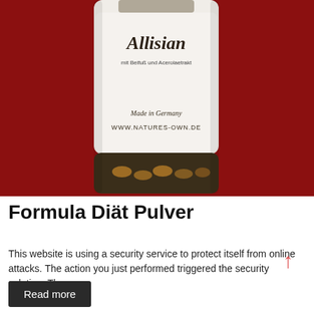[Figure (photo): A bottle of Allisian supplement product with white label showing 'Allisian', 'mit Beifuß und Acerolaetrakt', 'Made in Germany', 'WWW.NATURES-OWN.DE', photographed against a dark red background. The bottom of the bottle contains dark capsules/powder visible through brown glass.]
Formula Diät Pulver
This website is using a security service to protect itself from online attacks. The action you just performed triggered the security solution. There are
Read more